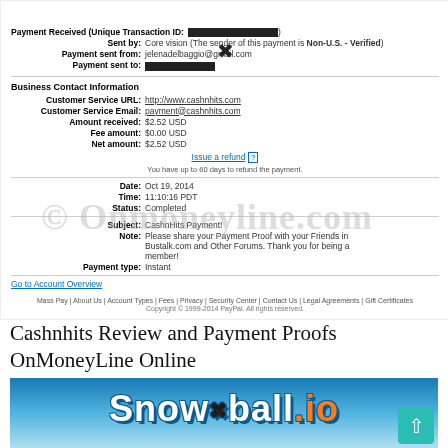[Figure (screenshot): PayPal payment received confirmation screenshot with watermark © Onmoneyline.com]
Cashnhits Review and Payment Proofs OnMoneyLine Online
[Figure (screenshot): Snowball.io website banner screenshot with scroll-to-top button]